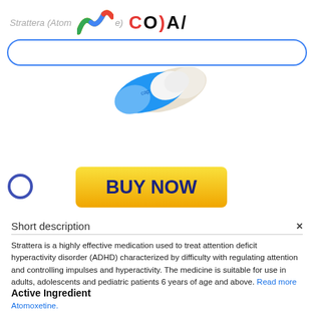Strattera (Atomoxetine)
[Figure (logo): Colorful mountain/wave logo followed by COIAI text logo]
[Figure (photo): Two pharmaceutical capsule pills - one blue and white, displayed on white background]
[Figure (illustration): Yellow BUY NOW button with dark blue bold text]
Short description
Strattera is a highly effective medication used to treat attention deficit hyperactivity disorder (ADHD) characterized by difficulty with regulating attention and controlling impulses and hyperactivity. The medicine is suitable for use in adults, adolescents and pediatric patients 6 years of age and above. Read more
Active Ingredient
Atomoxetine.